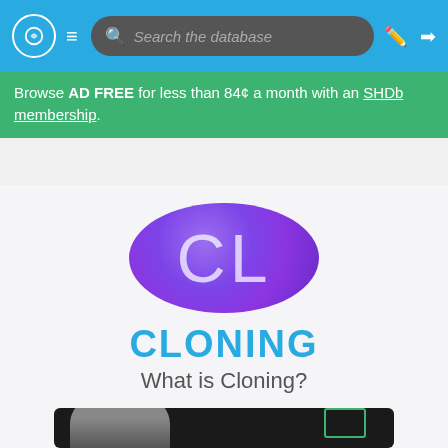Search the database
Browse AD FREE for less than 84¢ a month with an SHDb membership.
[Figure (logo): Purple gradient circle with letters CL in light purple]
CLONING
What is Cloning?
[Figure (photo): Dark screenshot or image strip at the bottom of the page showing a gray silhouette shape on a black background with a green outlined rectangle on the right]